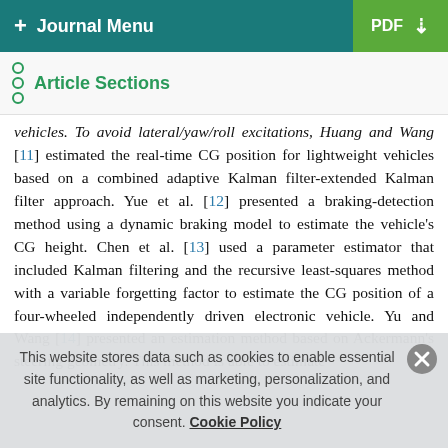+ Journal Menu | PDF ↓
Article Sections
vehicles. To avoid lateral/yaw/roll excitations, Huang and Wang [11] estimated the real-time CG position for lightweight vehicles based on a combined adaptive Kalman filter-extended Kalman filter approach. Yue et al. [12] presented a braking-detection method using a dynamic braking model to estimate the vehicle's CG height. Chen et al. [13] used a parameter estimator that included Kalman filtering and the recursive least-squares method with a variable forgetting factor to estimate the CG position of a four-wheeled independently driven electronic vehicle. Yu and Wang [14] presented an estimation method based on Ackermann's steering geometry. This method is able to estimate
This website stores data such as cookies to enable essential site functionality, as well as marketing, personalization, and analytics. By remaining on this website you indicate your consent. Cookie Policy